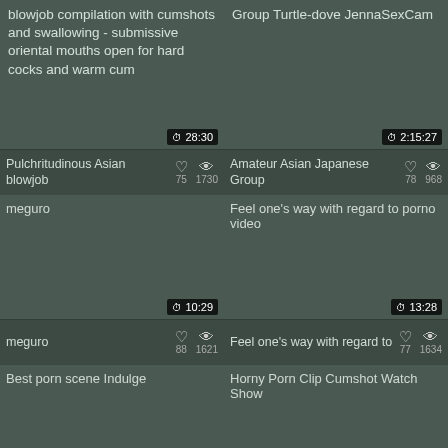[Figure (screenshot): Video thumbnail placeholder for blowjob compilation with cumshots and swallowing - submissive oriental mouths open for hard cocks and warm cum, duration 28:30]
Pulchritudinous Asian blowjob
[Figure (screenshot): Video thumbnail placeholder for Group Turtle-dove JennaSexCam, duration 2:15:27]
Amateur Asian Japanese Group
[Figure (screenshot): Video thumbnail placeholder labeled meguro, duration 10:29]
meguro
[Figure (screenshot): Video thumbnail placeholder for Feel one's way with regard to porno video, duration 13:28]
Feel one's way with regard to
[Figure (screenshot): Video thumbnail placeholder for Best porn scene Indulge, duration 2:57:47]
[Figure (screenshot): Video thumbnail placeholder for Horny Porn Clip Cumshot Watch Show, duration 2:29:50]